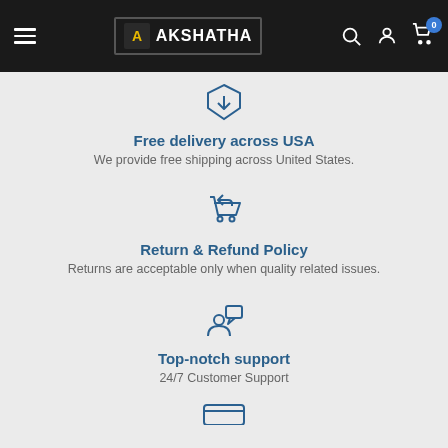AKSHATHA
[Figure (illustration): Download/delivery icon - pentagon shape with downward arrow]
Free delivery across USA
We provide free shipping across United States.
[Figure (illustration): Return cart icon - shopping cart with return arrow]
Return & Refund Policy
Returns are acceptable only when quality related issues.
[Figure (illustration): Customer support icon - person with speech bubble]
Top-notch support
24/7 Customer Support
[Figure (illustration): Credit card icon - partially visible at page bottom]